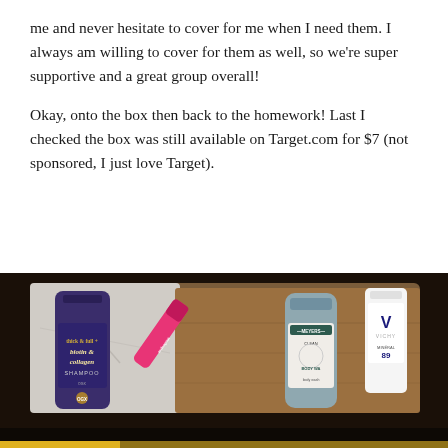me and never hesitate to cover for me when I need them. I always am willing to cover for them as well, so we're super supportive and a great group overall!

Okay, onto the box then back to the homework! Last I checked the box was still available on Target.com for $7 (not sponsored, I just love Target).
[Figure (photo): Photo of beauty/personal care products laid out on a dark surface including a biotin & collagen shampoo bottle, a pink Melonpout lip product, a Mrs. Meyer's Clean Day body wash, and a Vichy Mineral 89 product.]